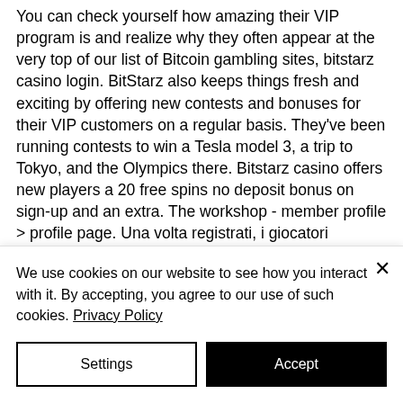You can check yourself how amazing their VIP program is and realize why they often appear at the very top of our list of Bitcoin gambling sites, bitstarz casino login. BitStarz also keeps things fresh and exciting by offering new contests and bonuses for their VIP customers on a regular basis. They've been running contests to win a Tesla model 3, a trip to Tokyo, and the Olympics there. Bitstarz casino offers new players a 20 free spins no deposit bonus on sign-up and an extra. The workshop - member profile &gt; profile page. Una volta registrati, i giocatori possono iniziare a godere dei 20 giri gratuiti
We use cookies on our website to see how you interact with it. By accepting, you agree to our use of such cookies. Privacy Policy
Settings
Accept